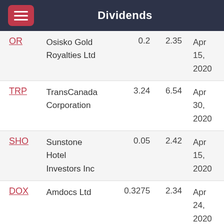Dividends
| Ticker | Name | Amount | Yield | Date |
| --- | --- | --- | --- | --- |
| OR | Osisko Gold Royalties Ltd | 0.2 | 2.35 | Apr 15, 2020 |
| TRP | TransCanada Corporation | 3.24 | 6.54 | Apr 30, 2020 |
| SHO | Sunstone Hotel Investors Inc | 0.05 | 2.42 | Apr 15, 2020 |
| DOX | Amdocs Ltd | 0.3275 | 2.34 | Apr 24, 2020 |
| NHI | National Health | 1.1025 | 7.96 | May |